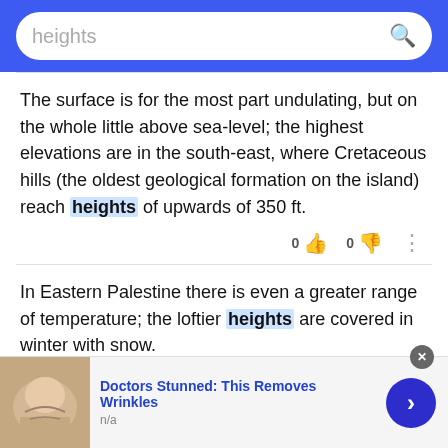heights
The surface is for the most part undulating, but on the whole little above sea-level; the highest elevations are in the south-east, where Cretaceous hills (the oldest geological formation on the island) reach heights of upwards of 350 ft.
In Eastern Palestine there is even a greater range of temperature; the loftier heights are covered in winter with snow.
[Figure (infographic): Advertisement: Doctors Stunned: This Removes Wrinkles, n/a, with a skin photo and navigation arrow button]